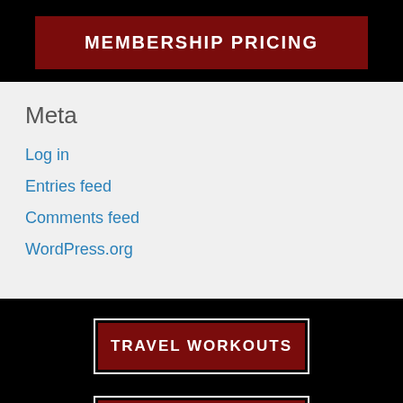MEMBERSHIP PRICING
Meta
Log in
Entries feed
Comments feed
WordPress.org
TRAVEL WORKOUTS
OUR COACHES
[Figure (other): Three partially visible social media icon circles at bottom]